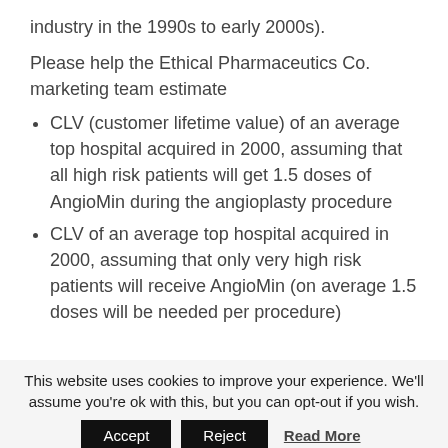industry in the 1990s to early 2000s).
Please help the Ethical Pharmaceutics Co. marketing team estimate
CLV (customer lifetime value) of an average top hospital acquired in 2000, assuming that all high risk patients will get 1.5 doses of AngioMin during the angioplasty procedure
CLV of an average top hospital acquired in 2000, assuming that only very high risk patients will receive AngioMin (on average 1.5 doses will be needed per procedure)
This website uses cookies to improve your experience. We'll assume you're ok with this, but you can opt-out if you wish. Accept Reject Read More